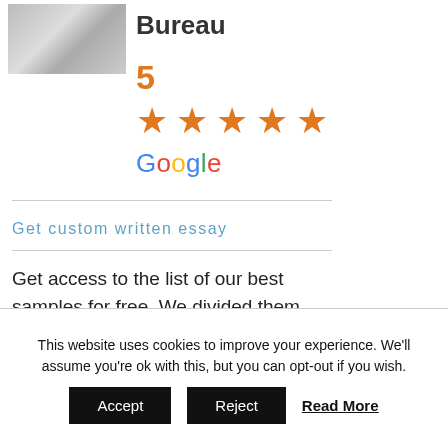[Figure (photo): Photo of person at a desk with papers, partially visible]
Bureau
5
[Figure (infographic): Five orange star rating icons]
Google
Get custom written essay
Get access to the list of our best samples for free. We divided them into categories of various types of papers and disciplines for your convenience.
This website uses cookies to improve your experience. We'll assume you're ok with this, but you can opt-out if you wish.
Accept
Reject
Read More